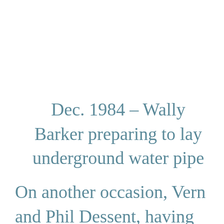Dec. 1984 – Wally Barker preparing to lay underground water pipe
On another occasion, Vern and Phil Dessent, having